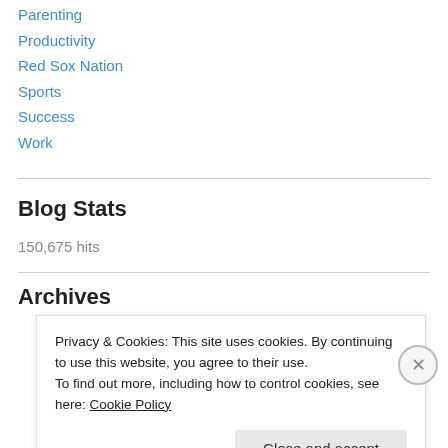Parenting
Productivity
Red Sox Nation
Sports
Success
Work
Blog Stats
150,675 hits
Archives
Privacy & Cookies: This site uses cookies. By continuing to use this website, you agree to their use.
To find out more, including how to control cookies, see here: Cookie Policy